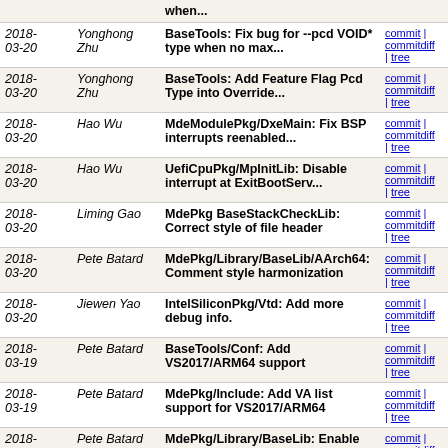| Date | Author | Commit message | Links |
| --- | --- | --- | --- |
| (truncated) when... |  |  |  |
| 2018-03-20 | Yonghong Zhu | BaseTools: Fix bug for --pcd VOID* type when no max... | commit | commitdiff | tree |
| 2018-03-20 | Yonghong Zhu | BaseTools: Add Feature Flag Pcd Type into Override... | commit | commitdiff | tree |
| 2018-03-20 | Hao Wu | MdeModulePkg/DxeMain: Fix BSP interrupts reenabled... | commit | commitdiff | tree |
| 2018-03-20 | Hao Wu | UefiCpuPkg/MpInitLib: Disable interrupt at ExitBootServ... | commit | commitdiff | tree |
| 2018-03-20 | Liming Gao | MdePkg BaseStackCheckLib: Correct style of file header | commit | commitdiff | tree |
| 2018-03-20 | Pete Batard | MdePkg/Library/BaseLib/AArch64: Comment style harmonization | commit | commitdiff | tree |
| 2018-03-20 | Jiewen Yao | IntelSiliconPkg/Vtd: Add more debug info. | commit | commitdiff | tree |
| 2018-03-19 | Pete Batard | BaseTools/Conf: Add VS2017/ARM64 support | commit | commitdiff | tree |
| 2018-03-19 | Pete Batard | MdePkg/Include: Add VA list support for VS2017/ARM64 | commit | commitdiff | tree |
| 2018-03-19 | Pete Batard | MdePkg/Library/BaseLib: Enable VS2017/ARM64 builds | commit | commitdiff | tree |
| 2018-03-19 | Pete Batard | MdePkg: Disable some Level 4 warnings for VS2017/ARM64 | commit | commitdiff | tree |
| 2018-03-19 | Ruiyu Ni | ShellBinPkg: Update ReadMe.txt | commit | commitdiff | tree |
| 2018-03-19 | Ruiyu Ni | ShellBinPkg: Ia32/X64 Shell binary update. | commit | commitdiff | tree |